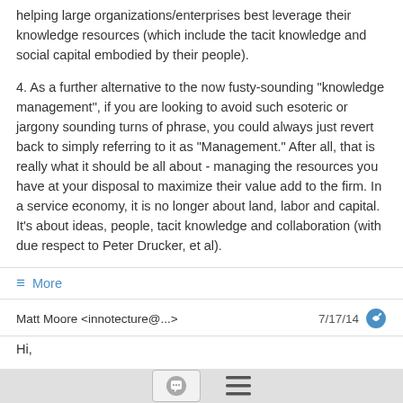helping large organizations/enterprises best leverage their knowledge resources (which include the tacit knowledge and social capital embodied by their people).
4. As a further alternative to the now fusty-sounding "knowledge management", if you are looking to avoid such esoteric or jargony sounding turns of phrase, you could always just revert back to simply referring to it as "Management." After all, that is really what it should be all about - managing the resources you have at your disposal to maximize their value add to the firm. In a service economy, it is no longer about land, labor and capital. It's about ideas, people, tacit knowledge and collaboration (with due respect to Peter Drucker, et al).
≡ More
Matt Moore <innotecture@...>    7/17/14
Hi,